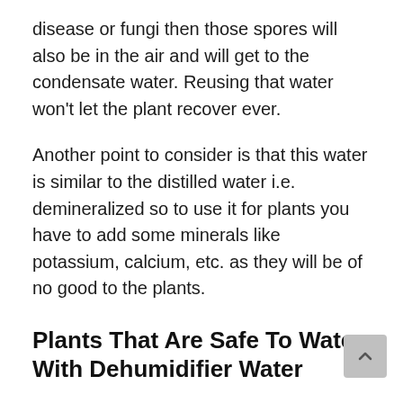disease or fungi then those spores will also be in the air and will get to the condensate water. Reusing that water won't let the plant recover ever.
Another point to consider is that this water is similar to the distilled water i.e. demineralized so to use it for plants you have to add some minerals like potassium, calcium, etc. as they will be of no good to the plants.
Plants That Are Safe To Water With Dehumidifier Water